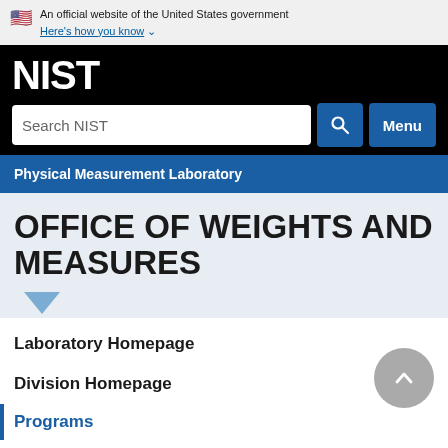An official website of the United States government
Here's how you know
[Figure (logo): NIST logo in white text on black background]
Search NIST
Physical Measurement Laboratory
OFFICE OF WEIGHTS AND MEASURES
Laboratory Homepage
Division Homepage
Programs